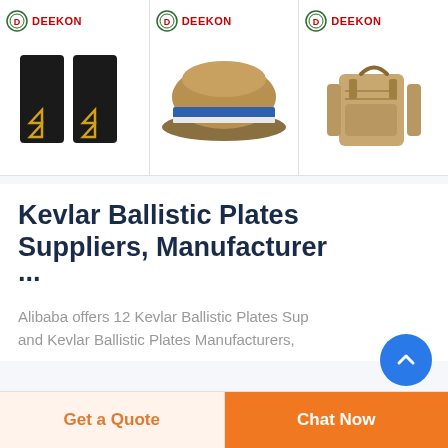[Figure (photo): Three product listings from DEEKON brand: military rank shoulder boards (black with gold chevrons), a military peaked cap (khaki/tan with blue band), and a tactical backpack/bag (tan/coyote color). Each has the DEEKON logo in the top left corner.]
Kevlar Ballistic Plates Suppliers, Manufacturer ...
Alibaba offers 12 Kevlar Ballistic Plates Sup and Kevlar Ballistic Plates Manufacturers,
Get a Quote
Chat Now